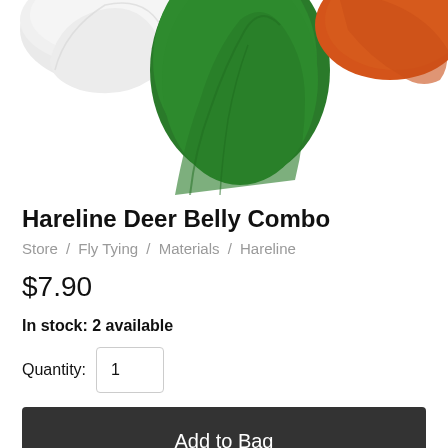[Figure (photo): Photo of deer belly fur combo materials in white, green, and orange colors against a white background, cropped at top.]
Hareline Deer Belly Combo
Store / Fly Tying / Materials / Hareline
$7.90
In stock: 2 available
Quantity: 1
Add to Bag
Share this product with your friends